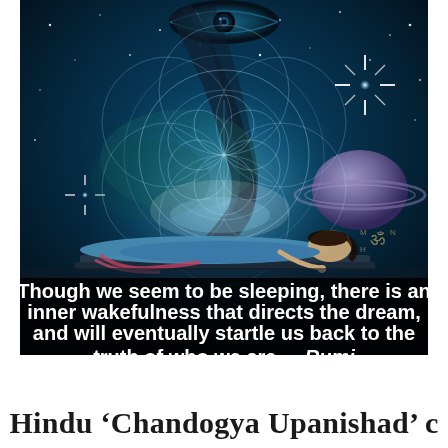[Figure (illustration): A spiritual/cosmic illustration showing a person lying down in a meditative pose with a cosmic background featuring stars, geometric sacred geometry circles, a large eye at the top, planets, and galactic elements in deep blue and teal tones. An Om symbol is visible in the lower right. A quote by Rumi is overlaid on a dark semi-transparent band at the bottom of the image.]
Though we seem to be sleeping, there is an inner wakefulness that directs the dream, and will eventually startle us back to the truth of who we are. ~ Rumi
Hindu 'Chandogya Upanishad' c